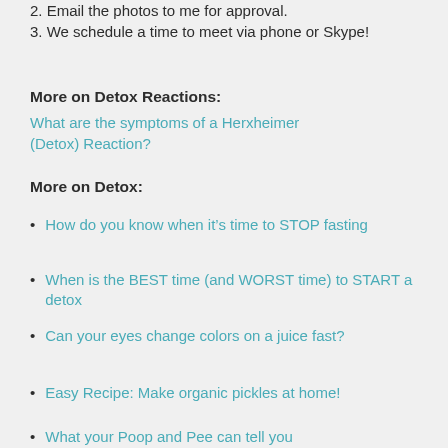2. Email the photos to me for approval.
3. We schedule a time to meet via phone or Skype!
More on Detox Reactions:
What are the symptoms of a Herxheimer (Detox) Reaction?
More on Detox:
How do you know when it’s time to STOP fasting
When is the BEST time (and WORST time) to START a detox
Can your eyes change colors on a juice fast?
Easy Recipe: Make organic pickles at home!
What your Poop and Pee can tell you